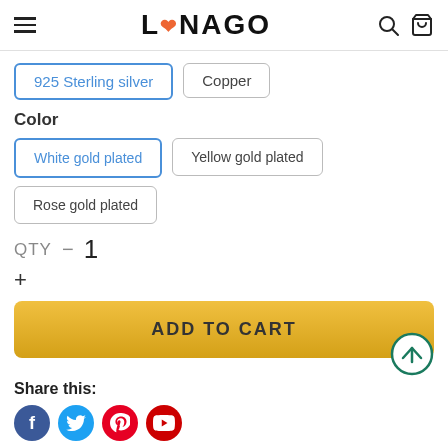LONAGO
925 Sterling silver
Copper
Color
White gold plated
Yellow gold plated
Rose gold plated
QTY - 1 +
ADD TO CART
Share this: